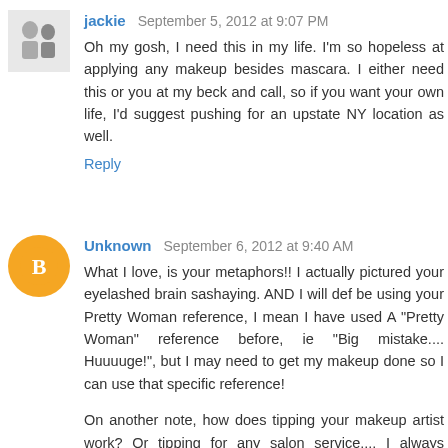jackie  September 5, 2012 at 9:07 PM
Oh my gosh, I need this in my life. I'm so hopeless at applying any makeup besides mascara. I either need this or you at my beck and call, so if you want your own life, I'd suggest pushing for an upstate NY location as well.
Reply
Unknown  September 6, 2012 at 9:40 AM
What I love, is your metaphors!! I actually pictured your eyelashed brain sashaying. AND I will def be using your Pretty Woman reference, I mean I have used A "Pretty Woman" reference before, ie "Big mistake.... Huuuuge!", but I may need to get my makeup done so I can use that specific reference!
On another note, how does tipping your makeup artist work? Or tipping for any salon service.... I always wonder what's commonplace/ socially acceptable for tips in that